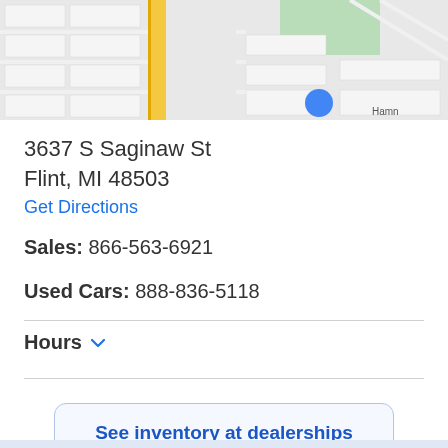[Figure (map): Map showing location near 3637 S Saginaw St, Flint, MI with a blue location pin marker and street layout]
3637 S Saginaw St
Flint, MI 48503
Get Directions
Sales: 866-563-6921
Used Cars: 888-836-5118
Hours
See inventory at dealerships near you
See all dealerships near Flint, MI that carry Chevrolet, GMC, Buick